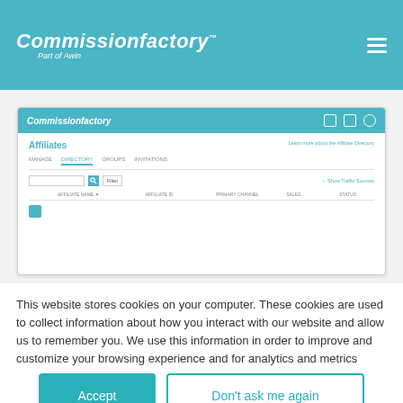Commissionfactory™ Part of Awin
[Figure (screenshot): Screenshot of Commissionfactory affiliate management platform showing the Affiliates Directory page with MANAGE, DIRECTORY, GROUPS, INVITATIONS tabs and a search/filter interface]
This website stores cookies on your computer. These cookies are used to collect information about how you interact with our website and allow us to remember you. We use this information in order to improve and customize your browsing experience and for analytics and metrics about our visitors both on this website and other media. To find out more about the cookies we use, see our Privacy Policy.
Accept
Don't ask me again